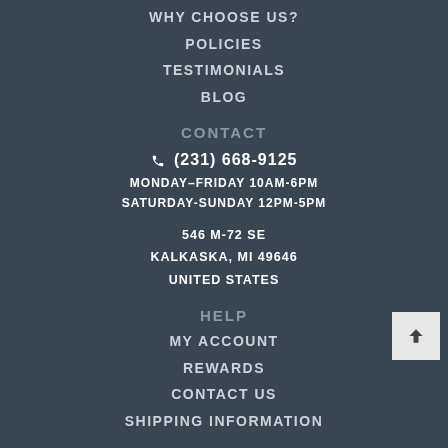WHY CHOOSE US?
POLICIES
TESTIMONIALS
BLOG
CONTACT
📞 (231) 668-9125
MONDAY–FRIDAY 10AM-6PM
SATURDAY-SUNDAY 12PM-5PM
546 M-72 SE
KALKASKA, MI 49646
UNITED STATES
HELP
MY ACCOUNT
REWARDS
CONTACT US
SHIPPING INFORMATION